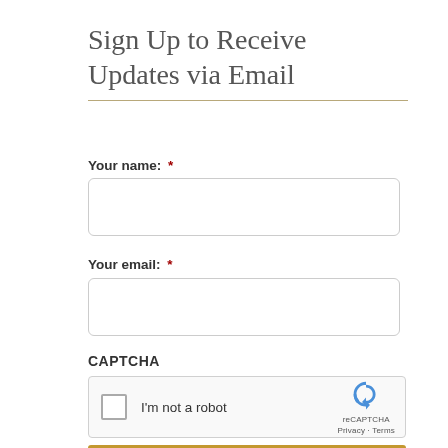Sign Up to Receive Updates via Email
Your name:  *
[Figure (other): Empty text input field for name]
Your email:  *
[Figure (other): Empty text input field for email]
CAPTCHA
[Figure (other): reCAPTCHA widget with checkbox, I'm not a robot text, and reCAPTCHA logo with Privacy and Terms links]
[Figure (other): Submit button area (partially visible at bottom)]